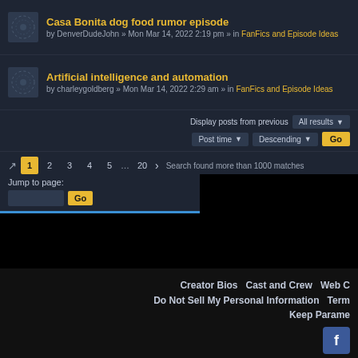Casa Bonita dog food rumor episode by DenverDudeJohn » Mon Mar 14, 2022 2:19 pm » in FanFics and Episode Ideas
Artificial intelligence and automation by charleygoldberg » Mon Mar 14, 2022 2:29 am » in FanFics and Episode Ideas
Display posts from previous: All results
Post time Descending Go
Search found more than 1000 matches
1 2 3 4 5 … 20
Jump to page: Go
Creator Bios   Cast and Crew   Web C   Do Not Sell My Personal Information   Term   Keep Parame